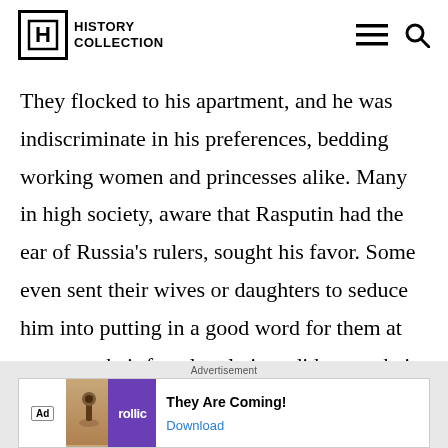HISTORY COLLECTION
They flocked to his apartment, and he was indiscriminate in his preferences, bedding working women and princesses alike. Many in high society, aware that Rasputin had the ear of Russia's rulers, sought his favor. Some even sent their wives or daughters to seduce him into putting in a good word for them at court, or their female relatives did so on their own initiative.
Advertisement
[Figure (other): Advertisement banner for Rollic game 'They Are Coming!' with a Download button]